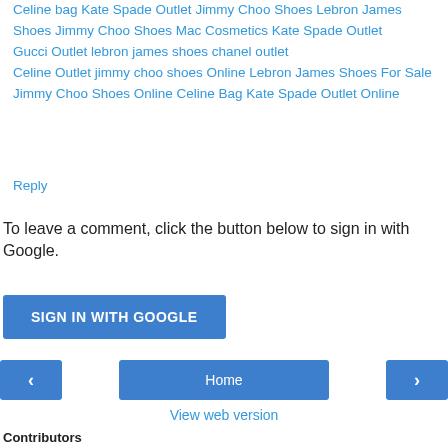Celine bag Kate Spade Outlet Jimmy Choo Shoes Lebron James Shoes Jimmy Choo Shoes Mac Cosmetics Kate Spade Outlet
Gucci Outlet lebron james shoes chanel outlet
Celine Outlet jimmy choo shoes Online Lebron James Shoes For Sale
Jimmy Choo Shoes Online Celine Bag Kate Spade Outlet Online
Reply
To leave a comment, click the button below to sign in with Google.
SIGN IN WITH GOOGLE
‹
Home
›
View web version
Contributors